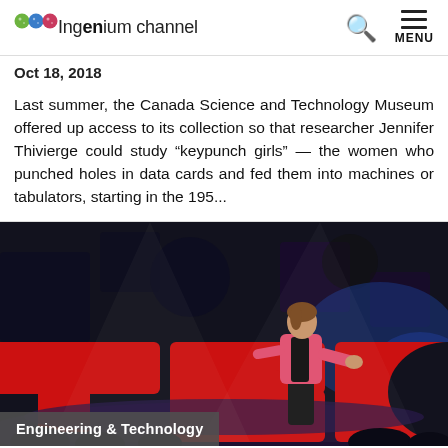Ingenium channel
Oct 18, 2018
Last summer, the Canada Science and Technology Museum offered up access to its collection so that researcher Jennifer Thivierge could study “keypunch girls” — the women who punched holes in data cards and fed them into machines or tabulators, starting in the 195...
[Figure (photo): A woman in a pink blazer speaking on a TED Talk stage with large red TED letters visible in the background and dark stage lighting.]
Engineering & Technology